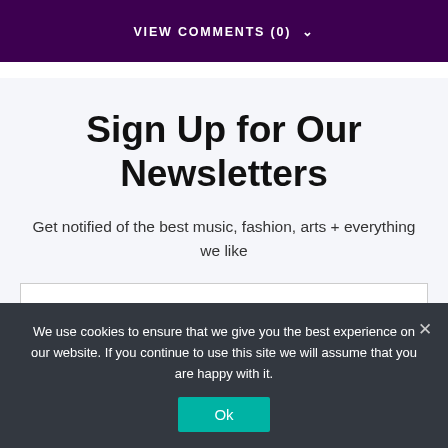VIEW COMMENTS (0)  ∨
Sign Up for Our Newsletters
Get notified of the best music, fashion, arts + everything we like
Enter your name
We use cookies to ensure that we give you the best experience on our website. If you continue to use this site we will assume that you are happy with it.
Ok